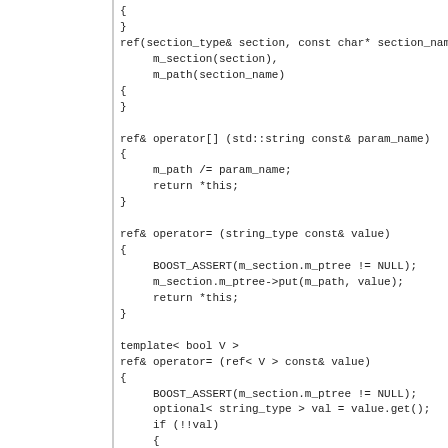{
}
ref(section_type& section, const char* section_name
     m_section(section),
     m_path(section_name)
{
}

ref& operator[] (std::string const& param_name)
{
     m_path /= param_name;
     return *this;
}

ref& operator= (string_type const& value)
{
     BOOST_ASSERT(m_section.m_ptree != NULL);
     m_section.m_ptree->put(m_path, value);
     return *this;
}

template< bool V >
ref& operator= (ref< V > const& value)
{
     BOOST_ASSERT(m_section.m_ptree != NULL);
     optional< string_type > val = value.get();
     if (!!val)
     {
          m_section.m_ptree->put(m_path, val);
     }
     else if (optional< property_tree_type& > node =
     {
          node.put_value(string_type());
     }

     return *this;
}